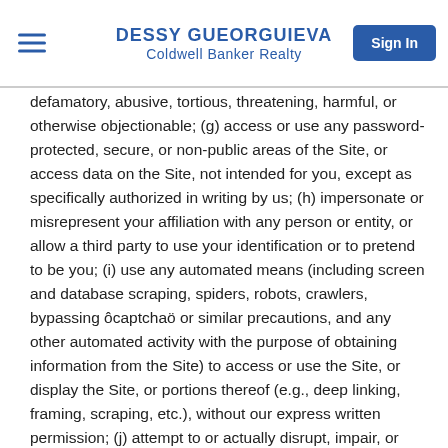DESSY GUEORGUIEVA
Coldwell Banker Realty
defamatory, abusive, tortious, threatening, harmful, or otherwise objectionable; (g) access or use any password-protected, secure, or non-public areas of the Site, or access data on the Site, not intended for you, except as specifically authorized in writing by us; (h) impersonate or misrepresent your affiliation with any person or entity, or allow a third party to use your identification or to pretend to be you; (i) use any automated means (including screen and database scraping, spiders, robots, crawlers, bypassing ôcaptchaö or similar precautions, and any other automated activity with the purpose of obtaining information from the Site) to access or use the Site, or display the Site, or portions thereof (e.g., deep linking, framing, scraping, etc.), without our express written permission; (j) attempt to or actually disrupt, impair, or interfere with the Site, or any information, data, or materials posted or displayed by us; (k) attempt to probe, scan, or test the vulnerability of the Site or